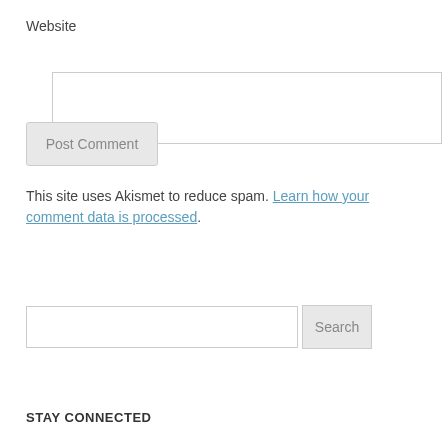Website
Post Comment
This site uses Akismet to reduce spam. Learn how your comment data is processed.
Search
STAY CONNECTED